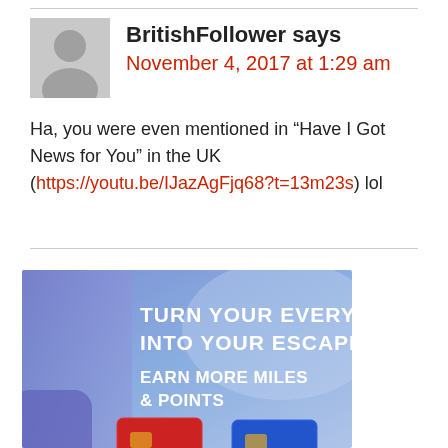BritishFollower says
November 4, 2017 at 1:29 am
Ha, you were even mentioned in “Have I Got News for You” in the UK (https://youtu.be/IJazAgFjq68?t=13m23s) lol
[Figure (illustration): Advertisement banner with gradient blue/purple background. Text reads: TURN YOUR EVERY DAY INTO YOUR ESCAPE. EARN MORE MILES & POINTS. Below shows partial view of credit cards in red and blue.]